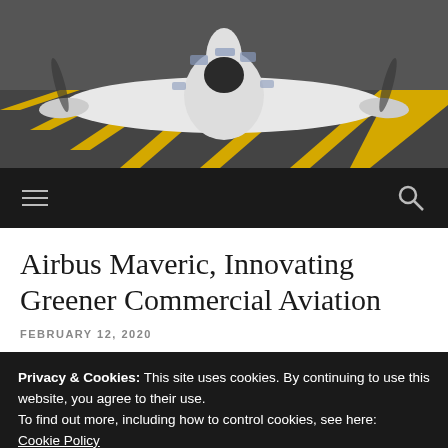[Figure (photo): Aerial or ground-level photo of Airbus Maveric blended wing body aircraft on runway with yellow chevron markings visible]
≡   🔍
Airbus Maveric, Innovating Greener Commercial Aviation
FEBRUARY 12, 2020
Privacy & Cookies: This site uses cookies. By continuing to use this website, you agree to their use.
To find out more, including how to control cookies, see here:
Cookie Policy

Close and accept